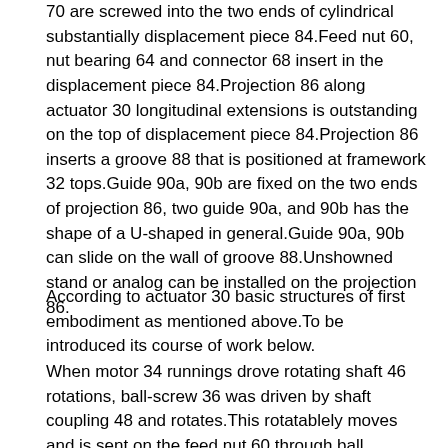70 are screwed into the two ends of cylindrical substantially displacement piece 84.Feed nut 60, nut bearing 64 and connector 68 insert in the displacement piece 84.Projection 86 along actuator 30 longitudinal extensions is outstanding on the top of displacement piece 84.Projection 86 inserts a groove 88 that is positioned at framework 32 tops.Guide 90a, 90b are fixed on the two ends of projection 86, two guide 90a, and 90b has the shape of a U-shaped in general.Guide 90a, 90b can slide on the wall of groove 88.Unshowned stand or analog can be installed on the projection 86.
According to actuator 30 basic structures of first embodiment as mentioned above.To be introduced its course of work below.
When motor 34 runnings drove rotating shaft 46 rotations, ball-screw 36 was driven by shaft coupling 48 and rotates.This rotatablely moves and is sent on the feed nut 60 through ball members 62.In this process, because guide 90a, the 90b of projection 86 match with the wall of groove 88, so displacement mechanism 38 does not rotate.Therefore, rotatablely move and just change rectilinear motion into by feed nut 60.Thus, displacement